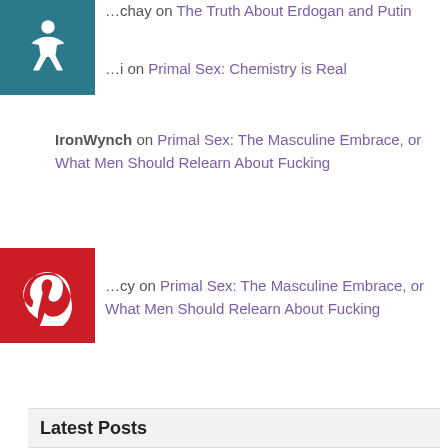...chay on The Truth About Erdogan and Putin
...i on Primal Sex: Chemistry is Real
IronWynch on Primal Sex: The Masculine Embrace, or What Men Should Relearn About Fucking
...cy on Primal Sex: The Masculine Embrace, or What Men Should Relearn About Fucking
Latest Posts
Julia Levander Drew Yautja Cloth Sculpture Start to Finish (@charactersbyjulia) • Instagram reel
Jack Of The Dust Xenomorph Head Sculpture (@jackofthedust) • Instagram reel
K. Sis. Nicole Lasher Comment on the Star Wars Flaking out on their Magical YKW (Ibtisam70)
Getting Schooled on African-ness – K. Sis. Nicole Lasher